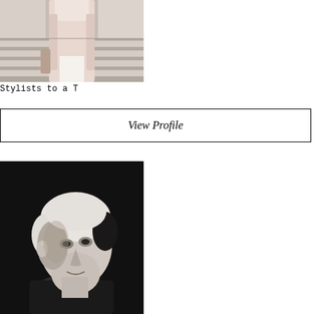[Figure (photo): A person wearing a light pink/blush long coat and white outfit crossing a zebra crosswalk on a city street, shot from mid-body down]
Stylists to a T
View Profile
[Figure (photo): Black and white portrait photograph of a woman with short white/blonde hair wearing a dark top, slight smile, facing slightly left]